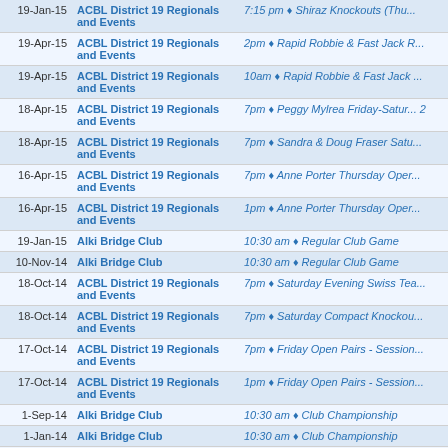| Date | Club | Event |
| --- | --- | --- |
| 19-Jan-15 | ACBL District 19 Regionals and Events | 7:15 pm ♦ Shiraz Knockouts (Thu... |
| 19-Apr-15 | ACBL District 19 Regionals and Events | 2pm ♦ Rapid Robbie & Fast Jack R... |
| 19-Apr-15 | ACBL District 19 Regionals and Events | 10am ♦ Rapid Robbie & Fast Jack ... |
| 18-Apr-15 | ACBL District 19 Regionals and Events | 7pm ♦ Peggy Mylrea Friday-Satu... 2 |
| 18-Apr-15 | ACBL District 19 Regionals and Events | 7pm ♦ Sandra & Doug Fraser Satu... |
| 16-Apr-15 | ACBL District 19 Regionals and Events | 7pm ♦ Anne Porter Thursday Oper... |
| 16-Apr-15 | ACBL District 19 Regionals and Events | 1pm ♦ Anne Porter Thursday Oper... |
| 19-Jan-15 | Alki Bridge Club | 10:30 am ♦ Regular Club Game |
| 10-Nov-14 | Alki Bridge Club | 10:30 am ♦ Regular Club Game |
| 18-Oct-14 | ACBL District 19 Regionals and Events | 7pm ♦ Saturday Evening Swiss Tea... |
| 18-Oct-14 | ACBL District 19 Regionals and Events | 7pm ♦ Saturday Compact Knockou... |
| 17-Oct-14 | ACBL District 19 Regionals and Events | 7pm ♦ Friday Open Pairs - Session... |
| 17-Oct-14 | ACBL District 19 Regionals and Events | 1pm ♦ Friday Open Pairs - Session... |
| 1-Sep-14 | Alki Bridge Club | 10:30 am ♦ Club Championship |
| 1-Jan-14 | Alki Bridge Club | 10:30 am ♦ Club Championship |
| 25-Aug-13 | ACBL District 19 Regionals and Events | 1:00 pm approx. ♦ Sunday Fast Pa... |
| 25-Aug-13 | ACBL District 19 Regionals and Events | 10:00 am, TBA ♦ Sunday Fast Pair... |
| 24-Aug-13 | ACBL District 19 Regionals and Events | 7:00 pm ♦ Weekend Bracketed Kno... 3 |